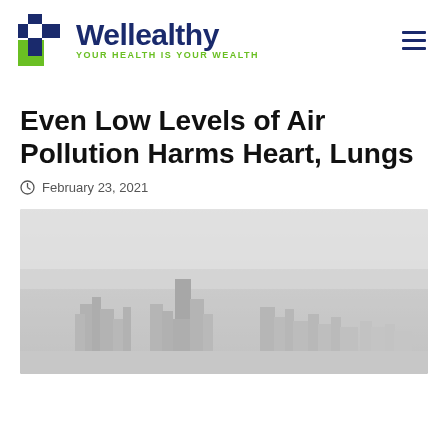Wellealthy — YOUR HEALTH IS YOUR WEALTH
Even Low Levels of Air Pollution Harms Heart, Lungs
February 23, 2021
[Figure (photo): City skyline obscured by heavy smog and air pollution, shown in grayscale]